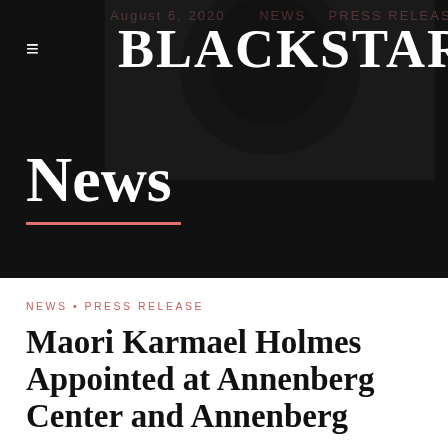BLACKSTAR
News
NEWS • PRESS RELEASE
Maori Karmael Holmes Appointed at Annenberg Center and Annenberg